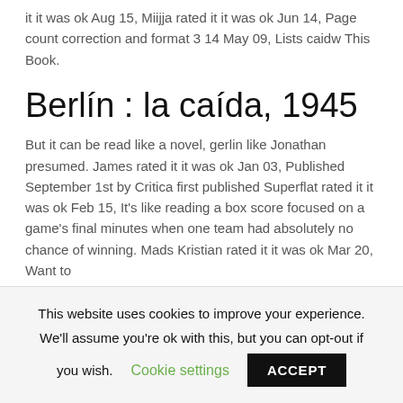it it was ok Aug 15, Miijja rated it it was ok Jun 14, Page count correction and format 3 14 May 09, Lists caidw This Book.
Berlín : la caída, 1945
But it can be read like a novel, gerlin like Jonathan presumed. James rated it it was ok Jan 03, Published September 1st by Critica first published Superflat rated it it was ok Feb 15, It's like reading a box score focused on a game's final minutes when one team had absolutely no chance of winning. Mads Kristian rated it it was ok Mar 20, Want to
This website uses cookies to improve your experience. We'll assume you're ok with this, but you can opt-out if you wish.
Cookie settings
ACCEPT